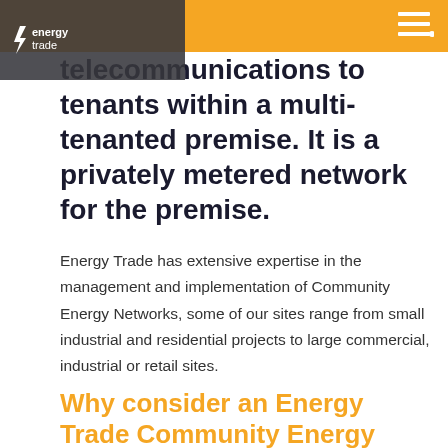energytrade
telecommunications to tenants within a multi-tenanted premise. It is a privately metered network for the premise.
Energy Trade has extensive expertise in the management and implementation of Community Energy Networks, some of our sites range from small industrial and residential projects to large commercial, industrial or retail sites.
Why consider an Energy Trade Community Energy Network?